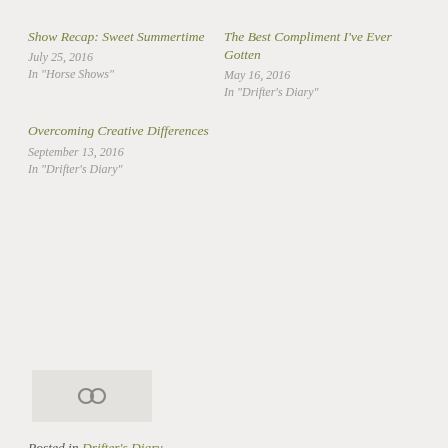Show Recap: Sweet Summertime
July 25, 2016
In "Horse Shows"
The Best Compliment I've Ever Gotten
May 16, 2016
In "Drifter's Diary"
Overcoming Creative Differences
September 13, 2016
In "Drifter's Diary"
[Figure (illustration): Chain link / infinity icon on a light grey rectangle background]
Posted in Drifter's Diary
Tagged Drifter, Equestrian, horseback riding, sad